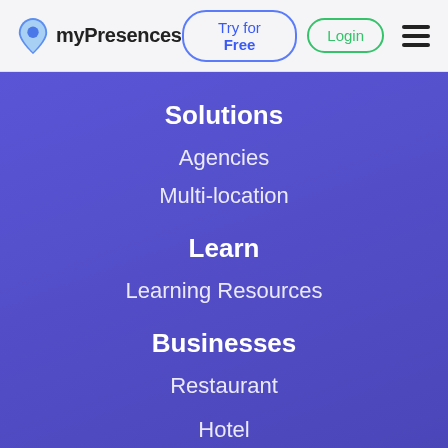myPresences | Try for Free | Login
Solutions
Agencies
Multi-location
Learn
Learning Resources
Businesses
Restaurant
Hotel